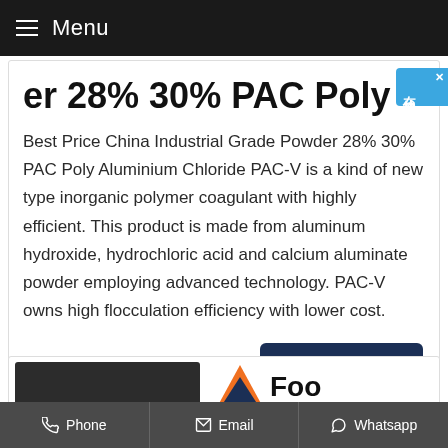Menu
er 28% 30% PAC Poly
Best Price China Industrial Grade Powder 28% 30% PAC Poly Aluminium Chloride PAC-V is a kind of new type inorganic polymer coagulant with highly efficient. This product is made from aluminum hydroxide, hydrochloric acid and calcium aluminate powder employing advanced technology. PAC-V owns high flocculation efficiency with lower cost.
Get Price
[Figure (other): Partial product card at bottom showing a dark image thumbnail and a logo with orange triangle]
Phone  Email  Whatsapp